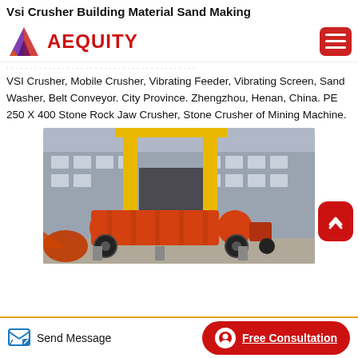Vsi Crusher Building Material Sand Making
AEQUITY [logo + hamburger menu]
VSI Crusher, Mobile Crusher, Vibrating Feeder, Vibrating Screen, Sand Washer, Belt Conveyor. City Province. Zhengzhou, Henan, China. PE 250 X 400 Stone Rock Jaw Crusher, Stone Crusher of Mining Machine.
[Figure (photo): Industrial ball mill / grinding machine in orange color, mounted outdoors near a factory building, with yellow overhead crane structure visible in the background.]
Send Message | Free Consultation